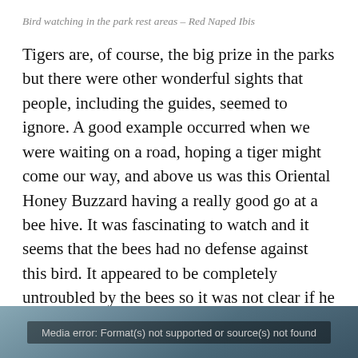Bird watching in the park rest areas – Red Naped Ibis
Tigers are, of course, the big prize in the parks but there were other wonderful sights that people, including the guides, seemed to ignore. A good example occurred when we were waiting on a road, hoping a tiger might come our way, and above us was this Oriental Honey Buzzard having a really good go at a bee hive. It was fascinating to watch and it seems that the bees had no defense against this bird. It appeared to be completely untroubled by the bees so it was not clear if he was being stung at all.
[Figure (photo): Media error: Format(s) not supported or source(s) not found — partially visible bird photo with branches against a blue sky background]